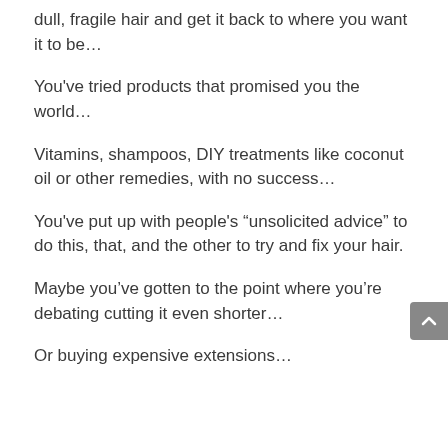dull, fragile hair and get it back to where you want it to be…
You've tried products that promised you the world…
Vitamins, shampoos, DIY treatments like coconut oil or other remedies, with no success…
You've put up with people's “unsolicited advice” to do this, that, and the other to try and fix your hair.
Maybe you’ve gotten to the point where you’re debating cutting it even shorter…
Or buying expensive extensions…